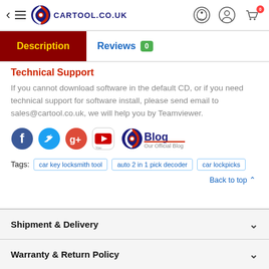CARTOOL.CO.UK
Description | Reviews 0
Technical Support
If you cannot download software in the default CD, or if you need technical support for software install, please send email to sales@cartool.co.uk, we will help you by Teamviewer.
[Figure (logo): Social media icons: Facebook, Twitter, Google+, YouTube, and Blog (Our Official Blog)]
Tags: car key locksmith tool  auto 2 in 1 pick decoder  car lockpicks
Back to top
Shipment & Delivery
Warranty & Return Policy